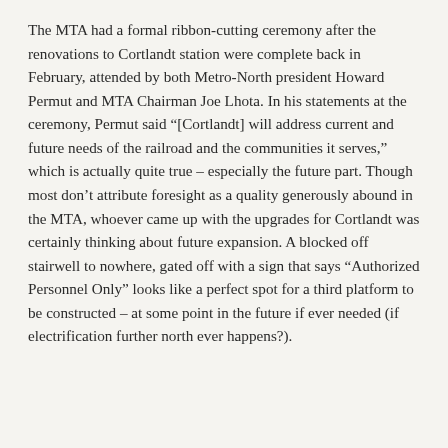The MTA had a formal ribbon-cutting ceremony after the renovations to Cortlandt station were complete back in February, attended by both Metro-North president Howard Permut and MTA Chairman Joe Lhota. In his statements at the ceremony, Permut said “[Cortlandt] will address current and future needs of the railroad and the communities it serves,” which is actually quite true – especially the future part. Though most don’t attribute foresight as a quality generously abound in the MTA, whoever came up with the upgrades for Cortlandt was certainly thinking about future expansion. A blocked off stairwell to nowhere, gated off with a sign that says “Authorized Personnel Only” looks like a perfect spot for a third platform to be constructed – at some point in the future if ever needed (if electrification further north ever happens?).